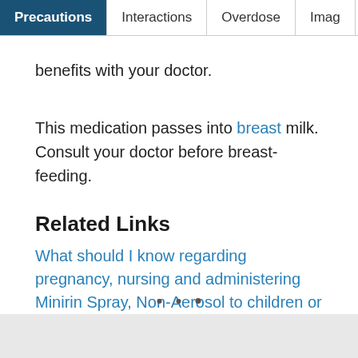Precautions | Interactions | Overdose | Imag
benefits with your doctor.
This medication passes into breast milk. Consult your doctor before breast-feeding.
Related Links
What should I know regarding pregnancy, nursing and administering Minirin Spray, Non-Aerosol to children or the elderly?